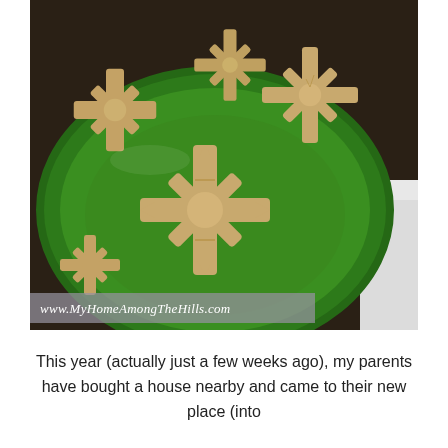[Figure (photo): Snowflake and star-shaped sugar cookies arranged on a round green plate, photographed from above at an angle. A white surface is visible at the right edge. A watermark reading 'www.MyHomeAmongTheHills.com' appears in a semi-transparent gray bar at the bottom left of the image.]
This year (actually just a few weeks ago), my parents have bought a house nearby and came to their new place (into